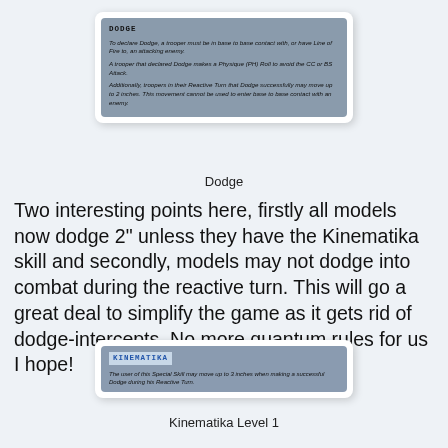[Figure (screenshot): Card showing DODGE rules text on a grey background with rounded corners and drop shadow]
Dodge
Two interesting points here, firstly all models now dodge 2" unless they have the Kinematika skill and secondly, models may not dodge into combat during the reactive turn. This will go a great deal to simplify the game as it gets rid of dodge-intercepts. No more quantum rules for us I hope!
[Figure (screenshot): Card showing KINEMATIKA rules text on a grey-blue background with rounded corners and drop shadow]
Kinematika Level 1